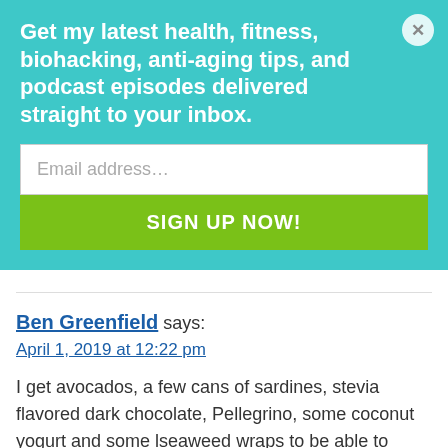Get my latest health, fitness, biohacking, anti-aging tips, and podcast episodes delivered straight to your inbox.
Email address...
SIGN UP NOW!
Ben Greenfield says:
April 1, 2019 at 12:22 pm
I get avocados, a few cans of sardines, stevia flavored dark chocolate, Pellegrino, some coconut yogurt and some lseaweed wraps to be able to make wraps with the